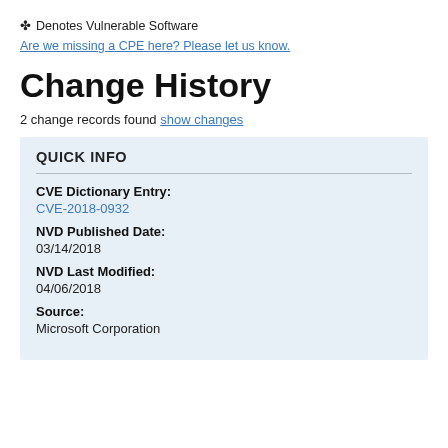✤ Denotes Vulnerable Software
Are we missing a CPE here? Please let us know.
Change History
2 change records found show changes
QUICK INFO
CVE Dictionary Entry:
CVE-2018-0932
NVD Published Date:
03/14/2018
NVD Last Modified:
04/06/2018
Source:
Microsoft Corporation